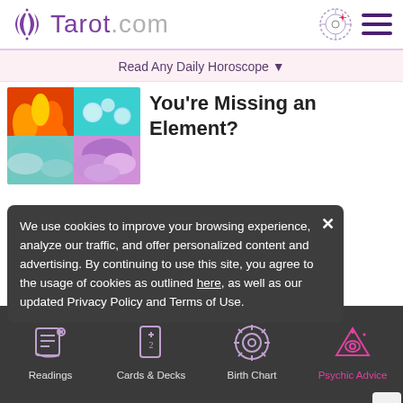[Figure (logo): Tarot.com logo with stylized double-crescent symbol in purple and grey/lavender text]
Read Any Daily Horoscope ▼
You're Missing an Element?
[Figure (photo): Collage of four elements: fire (orange flames), water (water droplets), air (teal/blue mist), earth (colorful purple/pink clouds or smoke)]
We use cookies to improve your browsing experience, analyze our traffic, and offer personalized content and advertising. By continuing to use this site, you agree to the usage of cookies as outlined here, as well as our updated Privacy Policy and Terms of Use.
Get Instant Love Advice From the Tarot
[Figure (screenshot): Bottom navigation bar with icons: Readings (scroll icon), Cards & Decks (card icon), Birth Chart (sun/wheel icon), Psychic Advice (crystal ball/eye icon, highlighted in pink)]